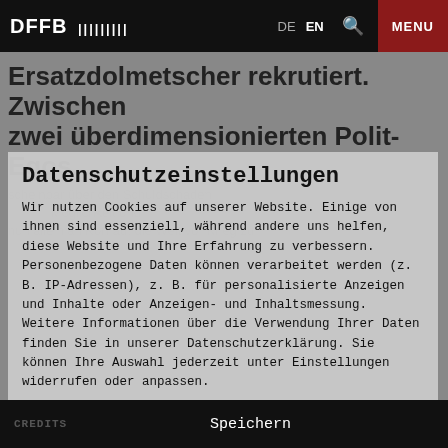DFFB |||||||||  DE EN  Q  MENU
Ersatzdolmetscher rekrutiert. Zwischen zwei überdimensionierten Polit-Egos,
Datenschutzeinstellungen
Wir nutzen Cookies auf unserer Website. Einige von ihnen sind essenziell, während andere uns helfen, diese Website und Ihre Erfahrung zu verbessern. Personenbezogene Daten können verarbeitet werden (z. B. IP-Adressen), z. B. für personalisierte Anzeigen und Inhalte oder Anzeigen- und Inhaltsmessung. Weitere Informationen über die Verwendung Ihrer Daten finden Sie in unserer Datenschutzerklärung. Sie können Ihre Auswahl jederzeit unter Einstellungen widerrufen oder anpassen.
☑ Essenziell   ☐ Marketing   ☐ Externe Medien
Alle akzeptieren
CREDITS   Speichern